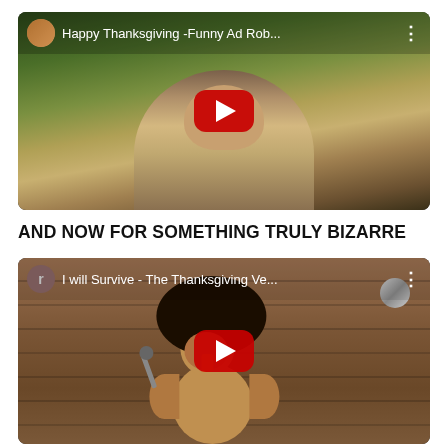[Figure (screenshot): YouTube video thumbnail showing a man laughing outdoors, titled 'Happy Thanksgiving -Funny Ad Rob...' with a YouTube play button overlay]
AND NOW FOR SOMETHING TRULY BIZARRE
[Figure (screenshot): YouTube video thumbnail showing an animated turkey character holding a microphone, titled 'I will Survive - The Thanksgiving Ve...' with a YouTube play button overlay]